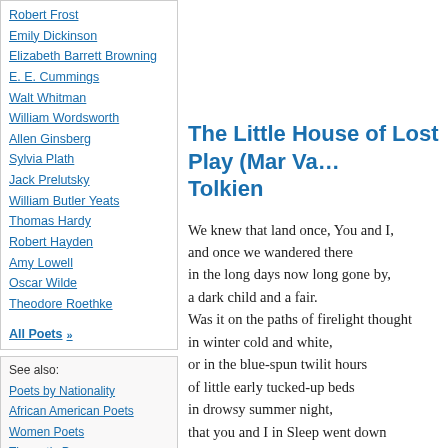Robert Frost
Emily Dickinson
Elizabeth Barrett Browning
E. E. Cummings
Walt Whitman
William Wordsworth
Allen Ginsberg
Sylvia Plath
Jack Prelutsky
William Butler Yeats
Thomas Hardy
Robert Hayden
Amy Lowell
Oscar Wilde
Theodore Roethke
All Poets »
See also:
Poets by Nationality
African American Poets
Women Poets
Thematic Poems
Thematic Quotes
Contemporary Poets
Nobel Prize Poets
American Poets
English Poets
The Little House of Lost Play (Mar Va... Tolkien
We knew that land once, You and I,
and once we wandered there
in the long days now long gone by,
a dark child and a fair.
Was it on the paths of firelight thought
in winter cold and white,
or in the blue-spun twilit hours
of little early tucked-up beds
in drowsy summer night,
that you and I in Sleep went down
to meet each other there,
your dark hair on your white nightgown
and mine was tangled fair?
We wandered shyly hand in hand,
small footprints in the golden sand,